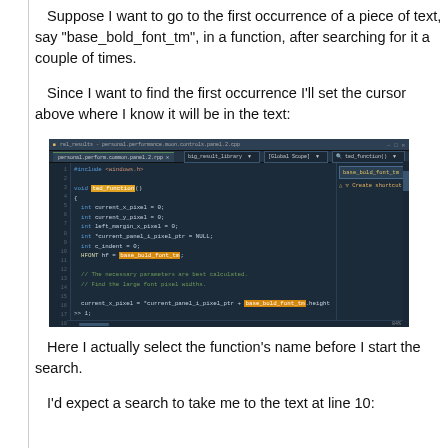Suppose I want to go to the first occurrence of a piece of text, say "base_bold_font_tm", in a function, after searching for it a couple of times.
Since I want to find the first occurrence I'll set the cursor above where I know it will be in the text:
[Figure (screenshot): Screenshot of a Visual Studio IDE showing C++ source code with 'base_bold_font_tm' highlighted multiple times in the code editor, with a Find toolbar and search panel visible.]
Here I actually select the function's name before I start the search.
I'd expect a search to take me to the text at line 10: